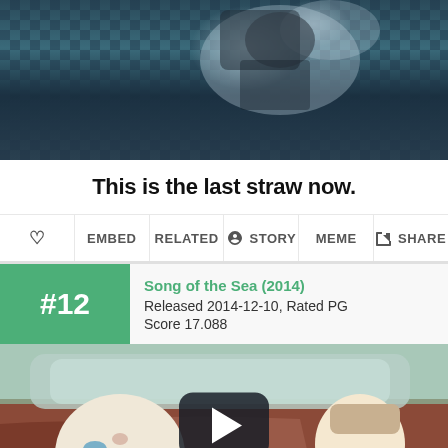[Figure (screenshot): Animated movie screenshot showing a stylized dark fantasy scene with checkered background]
This is the last straw now.
♡  EMBED  RELATED  ☺ STORY  MEME  ⬆ SHARE
#12  Song of the Sea (2014)  Released 2014-12-10, Rated PG  Score 17.088
[Figure (screenshot): Animated movie still from Song of the Sea (2014) showing characters in a car with a play button overlay]